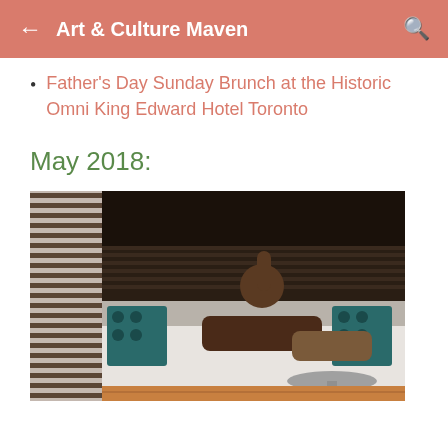Art & Culture Maven
Father's Day Sunday Brunch at the Historic Omni King Edward Hotel Toronto
May 2018:
[Figure (photo): A person lying on a white sofa/couch with teal and white patterned pillows, reaching toward horizontal blinds on a window. A round metallic side table is in the foreground. The scene appears to be a hotel room or lounge area with warm wooden flooring visible.]